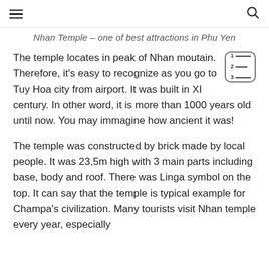≡   🔍
Nhan Temple – one of best attractions in Phu Yen
The temple locates in peak of Nhan moutain. Therefore, it's easy to recognize as you go to Tuy Hoa city from airport. It was built in XI century. In other word, it is more than 1000 years old until now. You may immagine how ancient it was!
The temple was constructed by brick made by local people. It was 23,5m high with 3 main parts including base, body and roof. There was Linga symbol on the top. It can say that the temple is typical example for Champa's civilization. Many tourists visit Nhan temple every year, especially